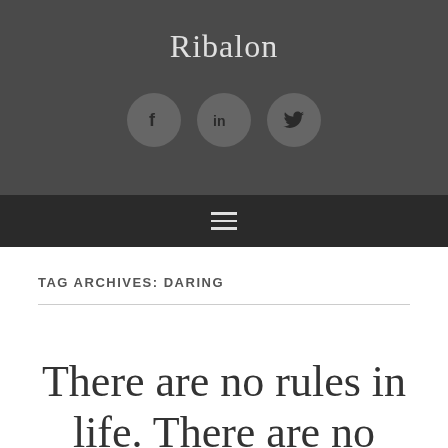Ribalon
[Figure (illustration): Three circular social media icon buttons: Facebook (f), LinkedIn (in), Twitter (bird icon), displayed on dark grey background]
TAG ARCHIVES: DARING
There are no rules in life. There are no rules